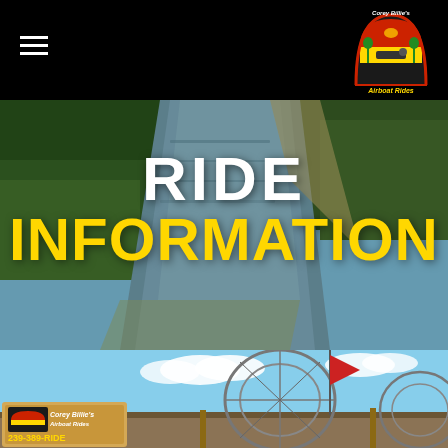Navigation bar with hamburger menu and Corey Billie's Airboat Rides logo
RIDE INFORMATION
[Figure (photo): Airboat docked at Corey Billie's Airboat Rides with sign reading '239-389-RIDE', red flag, blue sky with clouds]